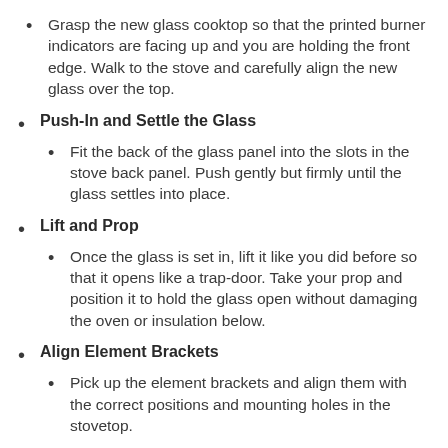Grasp the new glass cooktop so that the printed burner indicators are facing up and you are holding the front edge. Walk to the stove and carefully align the new glass over the top.
Push-In and Settle the Glass
Fit the back of the glass panel into the slots in the stove back panel. Push gently but firmly until the glass settles into place.
Lift and Prop
Once the glass is set in, lift it like you did before so that it opens like a trap-door. Take your prop and position it to hold the glass open without damaging the oven or insulation below.
Align Element Brackets
Pick up the element brackets and align them with the correct positions and mounting holes in the stovetop.